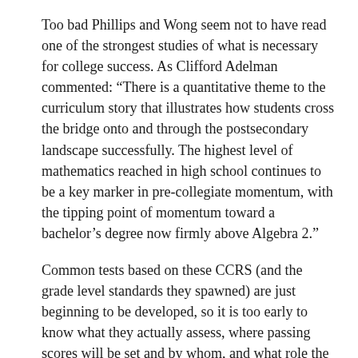Too bad Phillips and Wong seem not to have read one of the strongest studies of what is necessary for college success. As Clifford Adelman commented: “There is a quantitative theme to the curriculum story that illustrates how students cross the bridge onto and through the postsecondary landscape successfully. The highest level of mathematics reached in high school continues to be a key marker in pre-collegiate momentum, with the tipping point of momentum toward a bachelor’s degree now firmly above Algebra 2.”
Common tests based on these CCRS (and the grade level standards they spawned) are just beginning to be developed, so it is too early to know what they actually assess, where passing scores will be set and by whom, and what role the Gates Foundation will play to safeguard its investments. Its College-Ready Work Team defines ready as “access to two-year transfer programs or four-year colleges with the knowledge and skills to succeed in freshman-year core courses–in other words, no remedial work.”
ACT (one of the three major organizations that developed Common